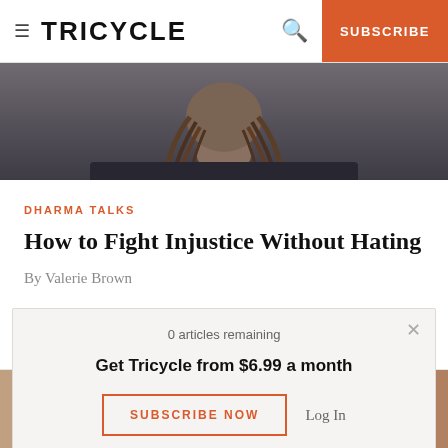≡ TRICYCLE  🔍  SUBSCRIBE
[Figure (photo): Close-up photo of a person with dreadlocks wearing a dark shirt, cropped at chest level]
DHARMA TALKS
How to Fight Injustice Without Hating
By Valerie Brown
[Figure (photo): Partially visible photo of a group of people, cropped]
0 articles remaining
Get Tricycle from $6.99 a month
SUBSCRIBE NOW   Log In